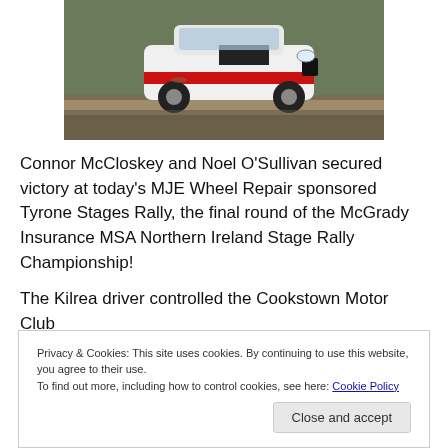[Figure (photo): Rally car (white with red and black livery) driving on a dirt track, photographed from the front-side angle.]
Connor McCloskey and Noel O’Sullivan secured victory at today’s MJE Wheel Repair sponsored Tyrone Stages Rally, the final round of the McGrady Insurance MSA Northern Ireland Stage Rally Championship!
The Kilrea driver controlled the Cookstown Motor Club
Privacy & Cookies: This site uses cookies. By continuing to use this website, you agree to their use.
To find out more, including how to control cookies, see here: Cookie Policy
Close and accept